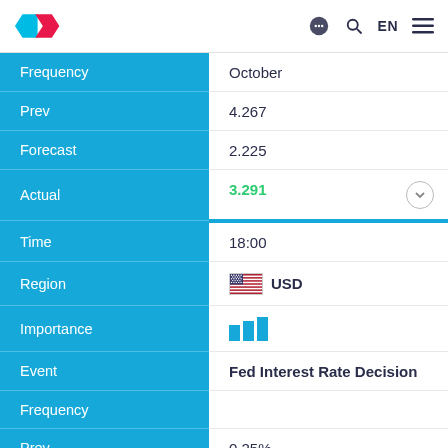TradingView header with logo and navigation icons (chat, search, EN, menu)
| Field | Value |
| --- | --- |
| Frequency | October |
| Prev | 4.267 |
| Forecast | 2.225 |
| Actual | 3.291 |
| Time | 18:00 |
| Region | USD |
| Importance | ||| |
| Event | Fed Interest Rate Decision |
| Frequency |  |
| Prev | 0.25% |
| Forecast | 0.25% |
| Actual | 0.25% |